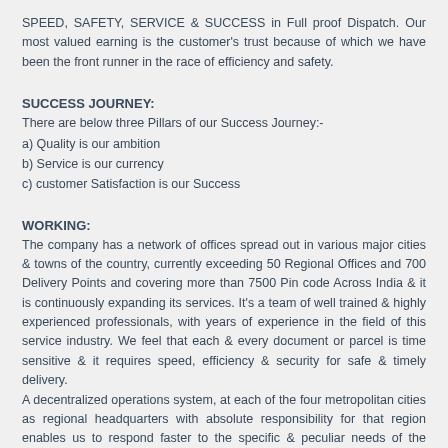SPEED, SAFETY, SERVICE & SUCCESS in Full proof Dispatch. Our most valued earning is the customer's trust because of which we have been the front runner in the race of efficiency and safety.
SUCCESS JOURNEY:
There are below three Pillars of our Success Journey:-
a) Quality is our ambition
b) Service is our currency
c) customer Satisfaction is our Success
WORKING:
The company has a network of offices spread out in various major cities & towns of the country, currently exceeding 50 Regional Offices and 700 Delivery Points and covering more than 7500 Pin code Across India & it is continuously expanding its services. It's a team of well trained & highly experienced professionals, with years of experience in the field of this service industry. We feel that each & every document or parcel is time sensitive & it requires speed, efficiency & security for safe & timely delivery.
A decentralized operations system, at each of the four metropolitan cities as regional headquarters with absolute responsibility for that region enables us to respond faster to the specific & peculiar needs of the products in their respective regions.